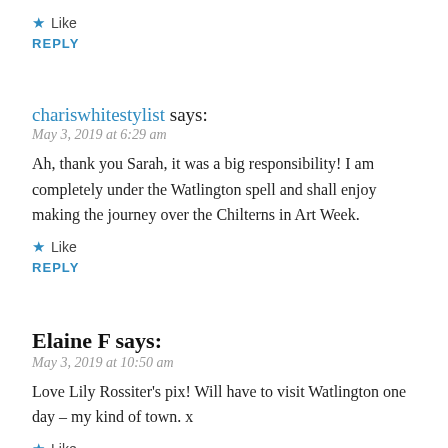★ Like
REPLY
chariswhitestylist says:
May 3, 2019 at 6:29 am
Ah, thank you Sarah, it was a big responsibility! I am completely under the Watlington spell and shall enjoy making the journey over the Chilterns in Art Week.
★ Like
REPLY
Elaine F says:
May 3, 2019 at 10:50 am
Love Lily Rossiter's pix! Will have to visit Watlington one day – my kind of town. x
★ Like
REPLY